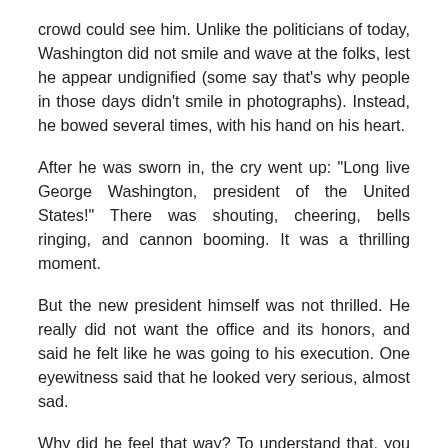crowd could see him. Unlike the politicians of today, Washington did not smile and wave at the folks, lest he appear undignified (some say that’s why people in those days didn’t smile in photographs). Instead, he bowed several times, with his hand on his heart.
After he was sworn in, the cry went up: “Long live George Washington, president of the United States!” There was shouting, cheering, bells ringing, and cannon booming. It was a thrilling moment.
But the new president himself was not thrilled. He really did not want the office and its honors, and said he felt like he was going to his execution. One eyewitness said that he looked very serious, almost sad.
Why did he feel that way? To understand that, you have to understand the man and his times.